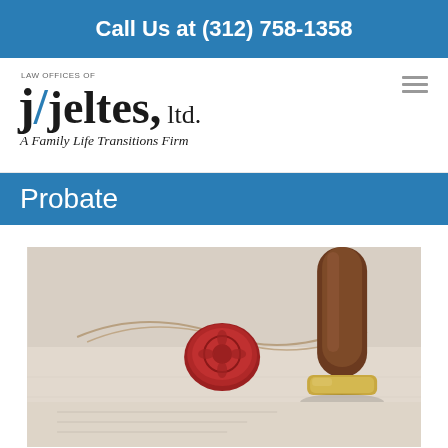Call Us at (312) 758-1358
[Figure (logo): Law Offices of j/jeltes, ltd. — A Family Life Transitions Firm logo with blue slash element]
Probate
[Figure (photo): Close-up photo of a wax seal on a rolled document with a wooden stamp/seal press beside it, on a white surface with papers]